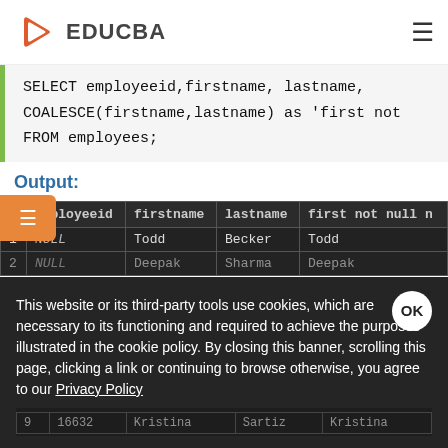EDUCBA
Output:
[Figure (screenshot): Dark-themed database table showing columns: employeeid, firstname, lastname, first not null. Row 1: NULL, Todd, Becker, Todd. Row 2 (dim): NULL, Deepak, Sharma, Deepak. Row 9 (dim): 16632, Kristina, Sartiz, Kristina.]
This website or its third-party tools use cookies, which are necessary to its functioning and required to achieve the purposes illustrated in the cookie policy. By closing this banner, scrolling this page, clicking a link or continuing to browse otherwise, you agree to our Privacy Policy